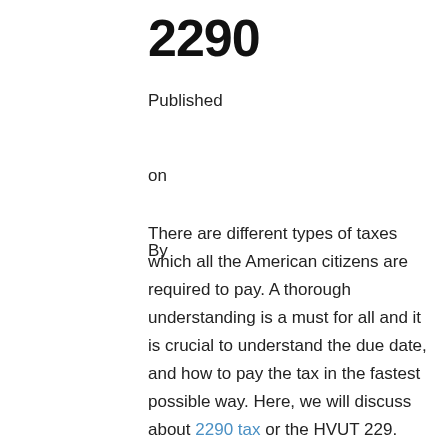2290
Published

on

By
There are different types of taxes which all the American citizens are required to pay. A thorough understanding is a must for all and it is crucial to understand the due date, and how to pay the tax in the fastest possible way. Here, we will discuss about 2290 tax or the HVUT 229. Firstly, let’s try and understand what exactly is the HVUT 2290 tax.